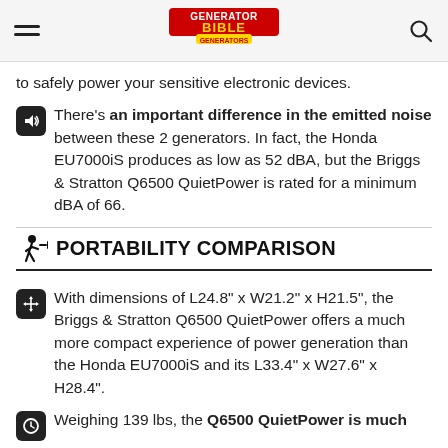Generator Bible
to safely power your sensitive electronic devices.
There's an important difference in the emitted noise between these 2 generators. In fact, the Honda EU7000iS produces as low as 52 dBA, but the Briggs & Stratton Q6500 QuietPower is rated for a minimum dBA of 66.
PORTABILITY COMPARISON
With dimensions of L24.8" x W21.2" x H21.5", the Briggs & Stratton Q6500 QuietPower offers a much more compact experience of power generation than the Honda EU7000iS and its L33.4" x W27.6" x H28.4".
Weighing 139 lbs, the Q6500 QuietPower is much